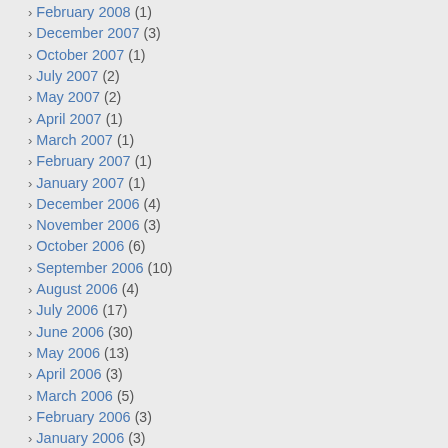› February 2008 (1)
› December 2007 (3)
› October 2007 (1)
› July 2007 (2)
› May 2007 (2)
› April 2007 (1)
› March 2007 (1)
› February 2007 (1)
› January 2007 (1)
› December 2006 (4)
› November 2006 (3)
› October 2006 (6)
› September 2006 (10)
› August 2006 (4)
› July 2006 (17)
› June 2006 (30)
› May 2006 (13)
› April 2006 (3)
› March 2006 (5)
› February 2006 (3)
› January 2006 (3)
› December 2005 (5)